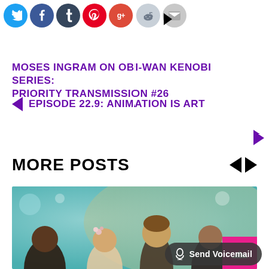[Figure (infographic): Social media share icons: Twitter (blue bird), Facebook (blue f), Tumblr (dark blue t), Pinterest (red p), Google+ (red g+), Reddit alien (grey), Email envelope (grey), followed by a small play arrow]
MOSES INGRAM ON OBI-WAN KENOBI SERIES: PRIORITY TRANSMISSION #26
EPISODE 22.9: ANIMATION IS ART
MORE POSTS
[Figure (illustration): Digital illustration of several young people standing together in a teal/aqua background setting. A girl with flowers in her hair is prominent in the center, with a tall boy behind her and other characters around them.]
Send Voicemail